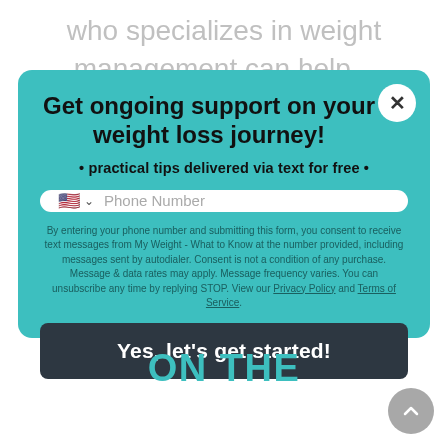who specializes in weight management can help...
Get ongoing support on your weight loss journey!
• practical tips delivered via text for free •
Phone Number
By entering your phone number and submitting this form, you consent to receive text messages from My Weight - What to Know at the number provided, including messages sent by autodialer. Consent is not a condition of any purchase. Message & data rates may apply. Message frequency varies. You can unsubscribe any time by replying STOP. View our Privacy Policy and Terms of Service.
Yes, let's get started!
ON THE